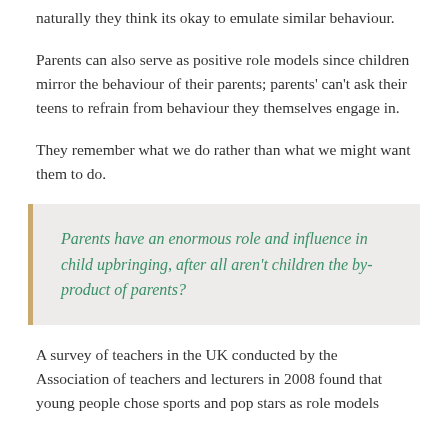naturally they think its okay to emulate similar behaviour.
Parents can also serve as positive role models since children mirror the behaviour of their parents; parents' can't ask their teens to refrain from behaviour they themselves engage in.
They remember what we do rather than what we might want them to do.
Parents have an enormous role and influence in child upbringing, after all aren't children the by-product of parents?
A survey of teachers in the UK conducted by the Association of teachers and lecturers in 2008 found that young people chose sports and pop stars as role models